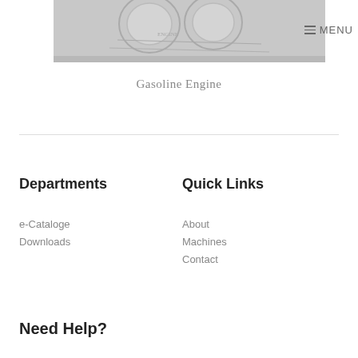[Figure (photo): Close-up photograph of a gasoline engine component, grayscale/white tones showing mechanical parts]
MENU
Gasoline Engine
Departments
Quick Links
e-Cataloge
Downloads
About
Machines
Contact
Need Help?